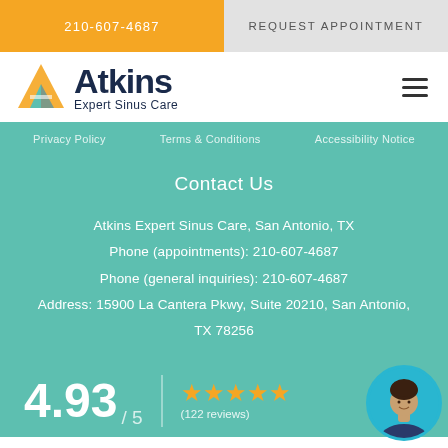210-607-4687 | REQUEST APPOINTMENT
[Figure (logo): Atkins Expert Sinus Care logo with stylized A shape in teal and gold]
Privacy Policy   Terms & Conditions   Accessibility Notice
Contact Us
Atkins Expert Sinus Care, San Antonio, TX
Phone (appointments): 210-607-4687
Phone (general inquiries): 210-607-4687
Address: 15900 La Cantera Pkwy, Suite 20210, San Antonio, TX 78256
4.93 / 5  ★★★★★  (122 reviews)